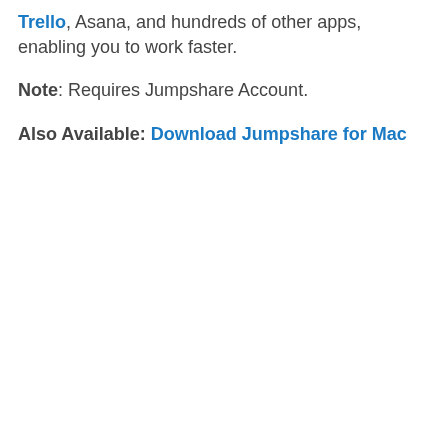Trello, Asana, and hundreds of other apps, enabling you to work faster.
Note: Requires Jumpshare Account.
Also Available: Download Jumpshare for Mac